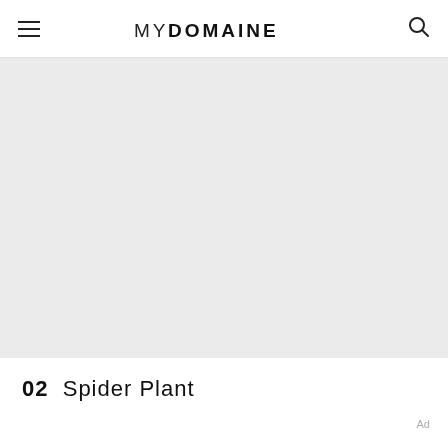MYDOMAINE
[Figure (photo): Large gray placeholder image area for article content]
02  Spider Plant
Ad